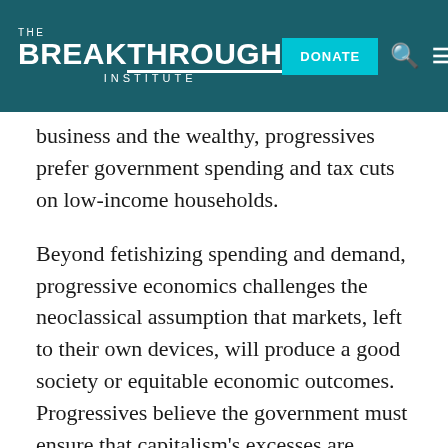THE BREAKTHROUGH INSTITUTE | DONATE
business and the wealthy, progressives prefer government spending and tax cuts on low-income households.
Beyond fetishizing spending and demand, progressive economics challenges the neoclassical assumption that markets, left to their own devices, will produce a good society or equitable economic outcomes. Progressives believe the government must ensure that capitalism's excesses are managed and its limitations addressed. The government's responsibility is to regulate corporations by enacting labor, environmental, and product safety laws and to ensure a social safety net by providing, among other things, unemployment insurance,